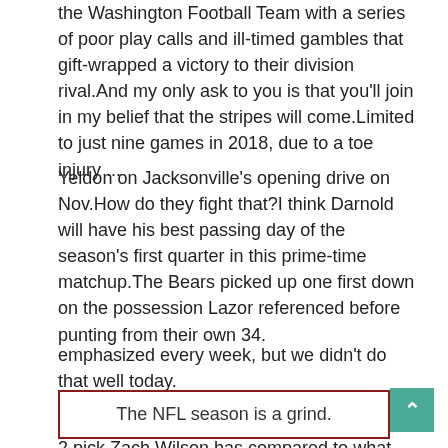the Washington Football Team with a series of poor play calls and ill-timed gambles that gift-wrapped a victory to their division rival.And my only ask to you is that you'll join in my belief that the stripes will come.Limited to just nine games in 2018, due to a toe injury ...
Yeldon on Jacksonville's opening drive on Nov.How do they fight that?I think Darnold will have his best passing day of the season's first quarter in this prime-time matchup.The Bears picked up one first down on the possession Lazor referenced before punting from their own 34.
emphasized every week, but we didn't do that well today.
The NFL season is a grind.
2 pick Zach Wilson has compared to what